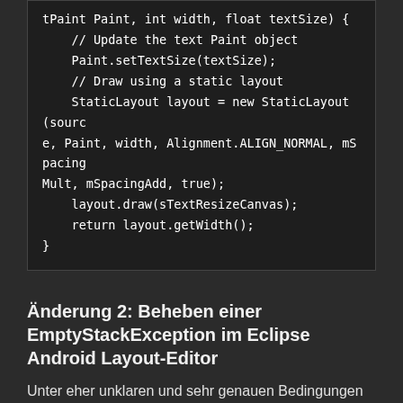tPaint Paint, int width, float textSize) {
    // Update the text Paint object
    Paint.setTextSize(textSize);
    // Draw using a static layout
    StaticLayout layout = new StaticLayout(source, Paint, width, Alignment.ALIGN_NORMAL, mSpacingMult, mSpacingAdd, true);
    layout.draw(sTextResizeCanvas);
    return layout.getWidth();
}
Änderung 2: Beheben einer EmptyStackException im Eclipse Android Layout-Editor
Unter eher unklaren und sehr genauen Bedingungen zeigt der Layout-Editor die grafische Darstellung des Layouts nicht an. Es wird eine "EmptyStackException: ...